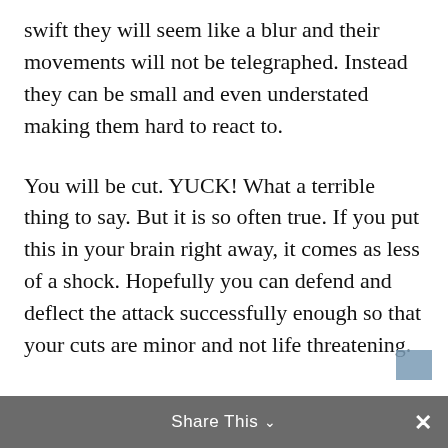swift they will seem like a blur and their movements will not be telegraphed. Instead they can be small and even understated making them hard to react to.
You will be cut. YUCK! What a terrible thing to say. But it is so often true. If you put this in your brain right away, it comes as less of a shock. Hopefully you can defend and deflect the attack successfully enough so that your cuts are minor and not life threatening.
In the hands of a trained knife fighter, a knife is very dangerous. In the hands of an inexperienced person, a knife is very
Share This ∨